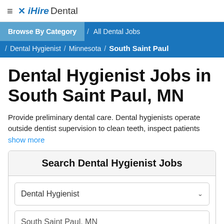iHireDental
Browse By Category / All Dental Jobs / Dental Hygienist / Minnesota / South Saint Paul
Dental Hygienist Jobs in South Saint Paul, MN
Provide preliminary dental care. Dental hygienists operate outside dentist supervision to clean teeth, inspect patients
show more
Search Dental Hygienist Jobs
Dental Hygienist
South Saint Paul, MN